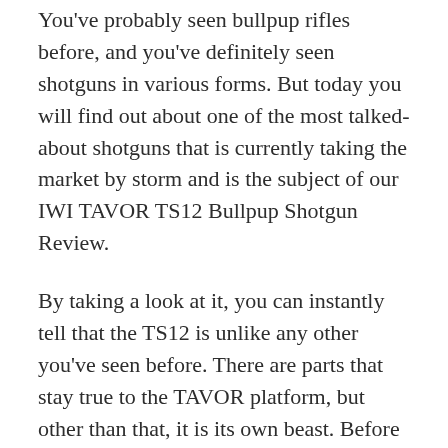You've probably seen bullpup rifles before, and you've definitely seen shotguns in various forms. But today you will find out about one of the most talked-about shotguns that is currently taking the market by storm and is the subject of our IWI TAVOR TS12 Bullpup Shotgun Review.
By taking a look at it, you can instantly tell that the TS12 is unlike any other you've seen before. There are parts that stay true to the TAVOR platform, but other than that, it is its own beast. Before going into details, there is an interesting backstory for the TS12 Bullpup Shotgun.